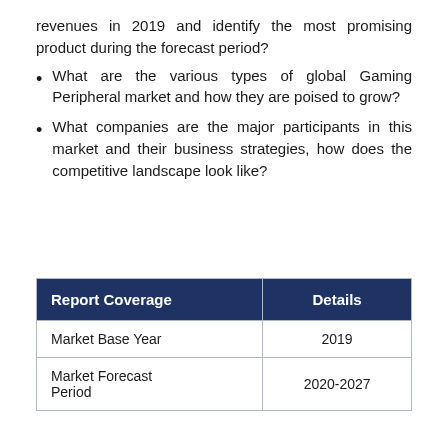revenues in 2019 and identify the most promising product during the forecast period?
What are the various types of global Gaming Peripheral market and how they are poised to grow?
What companies are the major participants in this market and their business strategies, how does the competitive landscape look like?
| Report Coverage | Details |
| --- | --- |
| Market Base Year | 2019 |
| Market Forecast Period | 2020-2027 |